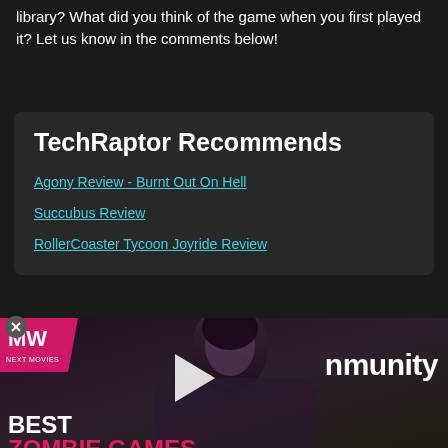library? What did you think of the game when you first played it? Let us know in the comments below!
TechRaptor Recommends
Agony Review - Burnt Out On Hell
Succubus Review
RollerCoaster Tycoon Joyride Review
[Figure (screenshot): Video thumbnail showing a dark-haired person, with MW logo in top-left corner, play button overlay, 'nmunity' text visible on right, and 'BEST ZOMBIE GAMES' label in bottom-left]
[Figure (screenshot): Green outdoor scene thumbnail at bottom-left]
[Figure (screenshot): Muted blue-green outdoor scene thumbnail at bottom-right]